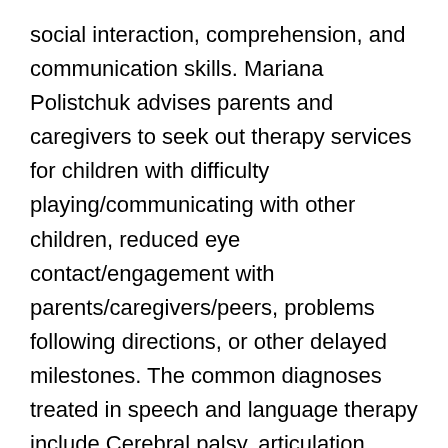social interaction, comprehension, and communication skills. Mariana Polistchuk advises parents and caregivers to seek out therapy services for children with difficulty playing/communicating with other children, reduced eye contact/engagement with parents/caregivers/peers, problems following directions, or other delayed milestones. The common diagnoses treated in speech and language therapy include Cerebral palsy, articulation disorder, childhood apraxia of speech, autism spectrum disorder (ASD), Down syndrome, intellectual disability, dysarthria, reading disorders, social communication disorder, pediatric feeding disorder, and many more.